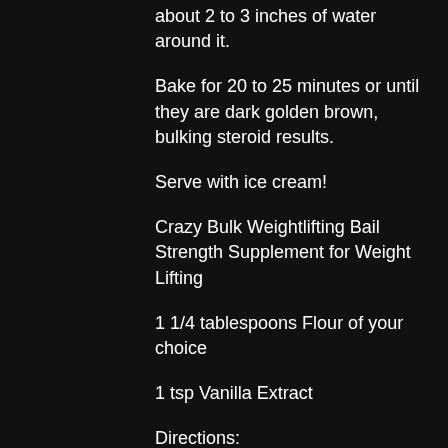about 2 to 3 inches of water around it.
Bake for 20 to 25 minutes or until they are dark golden brown, bulking steroid results.
Serve with ice cream!
Crazy Bulk Weightlifting Bail Strength Supplement for Weight Lifting
1 1/4 tablespoons Flour of your choice
1 tsp Vanilla Extract
Directions:
In a food processor combine the flour, peanut butter, vanilla extract and mix, bulking steroid stack. Add the flours along with the water and blend until the mix is completely combined. When the mixture is